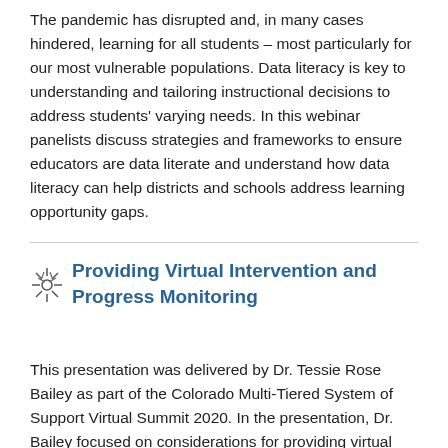The pandemic has disrupted and, in many cases hindered, learning for all students – most particularly for our most vulnerable populations. Data literacy is key to understanding and tailoring instructional decisions to address students' varying needs. In this webinar panelists discuss strategies and frameworks to ensure educators are data literate and understand how data literacy can help districts and schools address learning opportunity gaps.
Providing Virtual Intervention and Progress Monitoring
This presentation was delivered by Dr. Tessie Rose Bailey as part of the Colorado Multi-Tiered System of Support Virtual Summit 2020. In the presentation, Dr. Bailey focused on considerations for providing virtual intervention